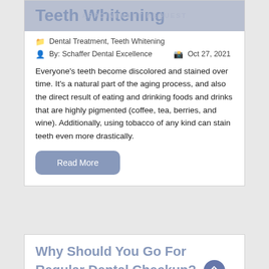Teeth Whitening
Dental Treatment, Teeth Whitening
By: Schaffer Dental Excellence   Oct 27, 2021
Everyone's teeth become discolored and stained over time. It's a natural part of the aging process, and also the direct result of eating and drinking foods and drinks that are highly pigmented (coffee, tea, berries, and wine). Additionally, using tobacco of any kind can stain teeth even more drastically.
Read More
Why Should You Go For Regular Dental Checkup?
Dental Cleaning, Dental Health, Oral Health